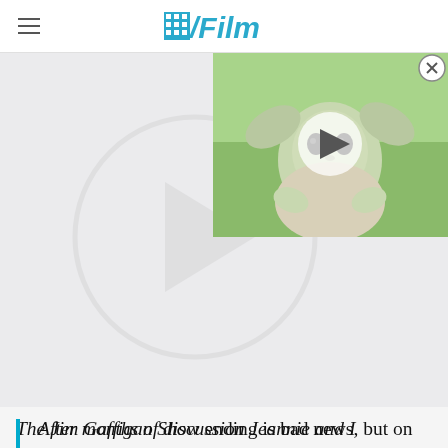/Film
[Figure (photo): Baby Yoda (Grogu) from The Mandalorian with a play button overlay, shown in a video thumbnail popup at top right. Background area shows a light gray play button circle on white/light gray.]
The Jim Gaffigan Show ending is bad news, but on the bright side, it wasn't canceled. So why end a show that has been critically acclaimed and found a solid audience on TV Land? We'll just let Jim Gaffigan himself explain from a post on WhoSay:
After months of discussion Jeannie and I